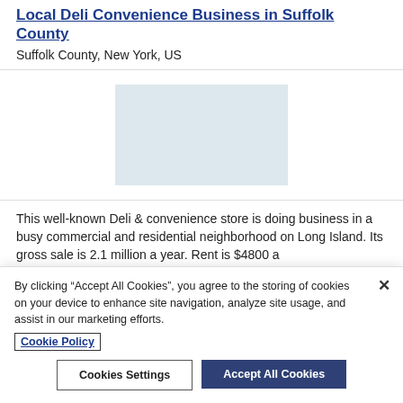Local Deli Convenience Business in Suffolk County
Suffolk County, New York, US
[Figure (photo): Placeholder image area with light blue-grey background representing a photo of the business listing]
This well-known Deli & convenience store is doing business in a busy commercial and residential neighborhood on Long Island. Its gross sale is 2.1 million a year. Rent is $4800 a
By clicking “Accept All Cookies”, you agree to the storing of cookies on your device to enhance site navigation, analyze site usage, and assist in our marketing efforts.
Cookie Policy
Cookies Settings
Accept All Cookies